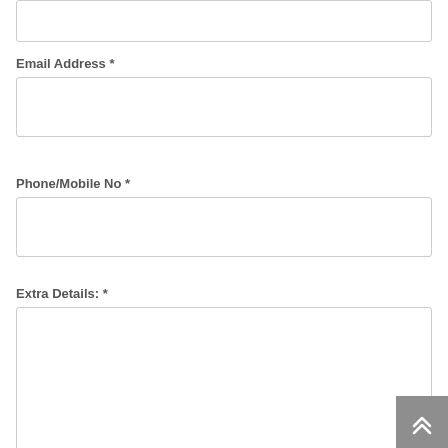Email Address *
Phone/Mobile No *
Extra Details: *